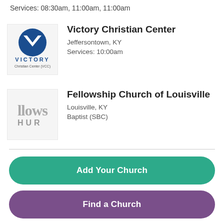Services: 08:30am, 11:00am, 11:00am
[Figure (logo): Victory Christian Center (VCC) logo — blue circle with white chevron V, text VICTORY below, Christian Center (VCC) smaller below]
Victory Christian Center
Jeffersontown, KY
Services: 10:00am
[Figure (logo): Fellowship Church logo — large serif text 'llows' on top row, 'HUR' below, partial crop of Fellowship Church wordmark]
Fellowship Church of Louisville
Louisville, KY
Baptist (SBC)
Add Your Church
Find a Church